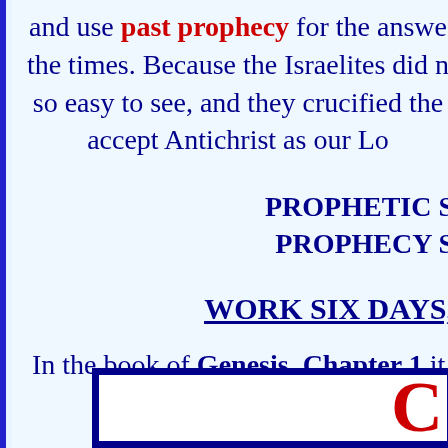and use past prophecy for the answers to the times. Because the Israelites did not so easy to see, and they crucified the accept Antichrist as our Lo
PROPHETIC S PROPHECY S
WORK SIX DAYS,
In the book of Genesis, Chapter 1 it
[Figure (other): Partial view of a box/table with a large red letter C visible at the bottom right]